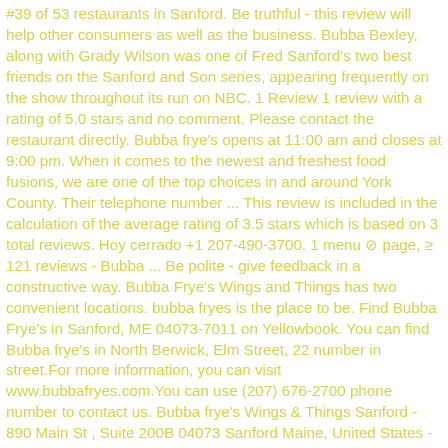#39 of 53 restaurants in Sanford. Be truthful - this review will help other consumers as well as the business. Bubba Bexley, along with Grady Wilson was one of Fred Sanford's two best friends on the Sanford and Son series, appearing frequently on the show throughout its run on NBC. 1 Review 1 review with a rating of 5.0 stars and no comment. Please contact the restaurant directly. Bubba frye's opens at 11:00 am and closes at 9:00 pm. When it comes to the newest and freshest food fusions, we are one of the top choices in and around York County. Their telephone number ... This review is included in the calculation of the average rating of 3.5 stars which is based on 3 total reviews. Hoy cerrado +1 207-490-3700. 1 menu ⊘ page, ≥ 121 reviews - Bubba ... Be polite - give feedback in a constructive way. Bubba Frye's Wings and Things has two convenient locations. bubba fryes is the place to be. Find Bubba Frye's in Sanford, ME 04073-7011 on Yellowbook. You can find Bubba frye's in North Berwick, Elm Street, 22 number in street.For more information, you can visit www.bubbafryes.com.You can use (207) 676-2700 phone number to contact us. Bubba frye's Wings & Things Sanford - 890 Main St , Suite 200B 04073 Sanford Maine, United States - (207) 490-3.. - Opening Hours - Phone Number - Contact - Map - Address - Get Directions. Delivery or pick up. Closed Friday 11:00 - 9:05 pm Saturday 11:00 - 9:05 pm Sunday 11:00 - 9:05 pm . Come in and enjoy! Terms of Service   . The coordinates that you can use in navigation applications to get to find Bubba frye's Wings & Things quickly are 43.407508...